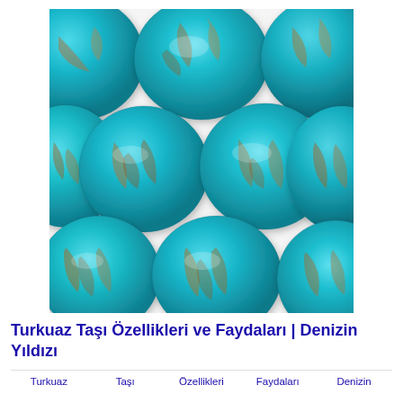[Figure (photo): Multiple round turquoise gemstone cabochons with gold/brown matrix veining arranged on a white background]
Turkuaz Taşı Özellikleri ve Faydaları | Denizin Yıldızı
Turkuaz
Taşı
Özellikleri
Faydaları
Denizin